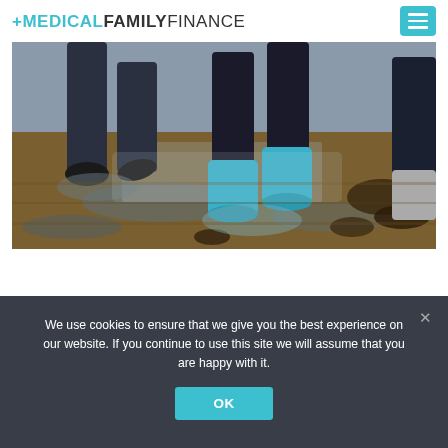+MEDICALFAMILYFINANCE
[Figure (photo): People walking on a wet beach or muddy ground, seen from the waist down. One person wears blue rubber boots, another wears dark jeans and dark shoes. Wet reflective sand with seaweed visible.]
We use cookies to ensure that we give you the best experience on our website. If you continue to use this site we will assume that you are happy with it.